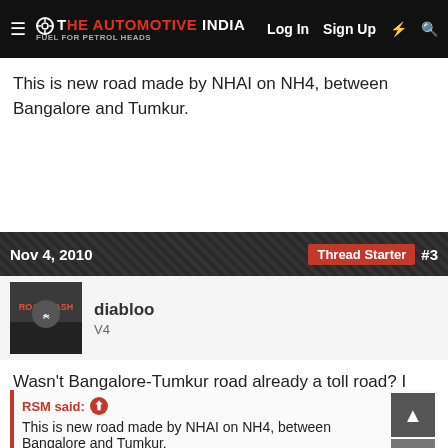The Automotive India — Log In  Sign Up
This is new road made by NHAI on NH4, between Bangalore and Tumkur.
Nov 4, 2010   Thread Starter  #3
diabloo
V4
Wasn't Bangalore-Tumkur road already a toll road? I had traveled in 2007 and I remember paying toll fee.
RSM said:
This is new road made by NHAI on NH4, between Bangalore and Tumkur.